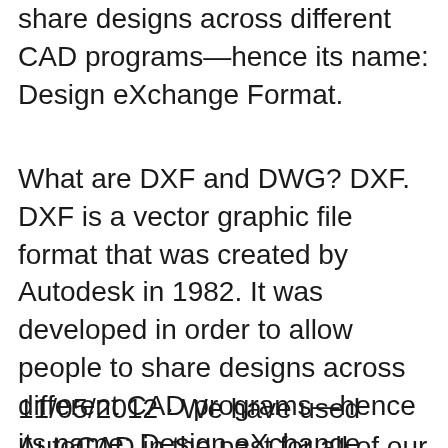share designs across different CAD programs—hence its name: Design eXchange Format.
What are DXF and DWG? DXF. DXF is a vector graphic file format that was created by Autodesk in 1982. It was developed in order to allow people to share designs across different CAD programs—hence its name: Design eXchange Format. 16/12/2009 · Re: Dwg to pdf conversion issues Dan- We had the same problem, but it was the way Adobe handled the AutoCAD 'wipeout' command. It converted it into a ...
11/05/2012 · We have used AutoCAD in the past for all of our drawings, but are